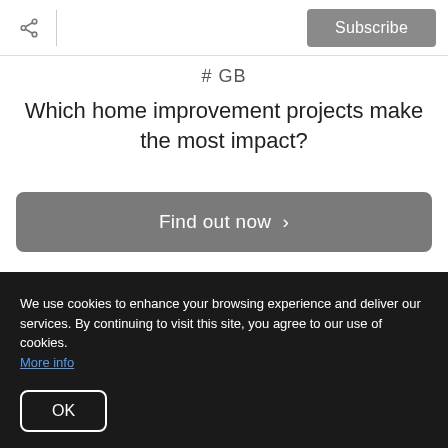Share | Subscribe
# GB
Which home improvement projects make the most impact?
Find out now >
[Figure (photo): Interior home improvement photo showing white wall/marble surface on left and dark wood door/staircase on right]
We use cookies to enhance your browsing experience and deliver our services. By continuing to visit this site, you agree to our use of cookies. More info
OK